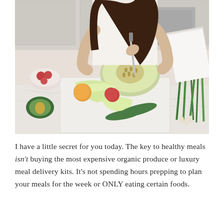[Figure (photo): A woman in a white tank top cutting a honeydew melon on a white marble cutting board in a bright kitchen. Various fruits and vegetables surround the board including tomatoes, an avocado, an orange, and cucumbers. Green onions are visible on the right side. A binder or book is open in the upper right corner.]
I have a little secret for you today. The key to healthy meals isn't buying the most expensive organic produce or luxury meal delivery kits. It's not spending hours prepping to plan your meals for the week or ONLY eating certain foods.